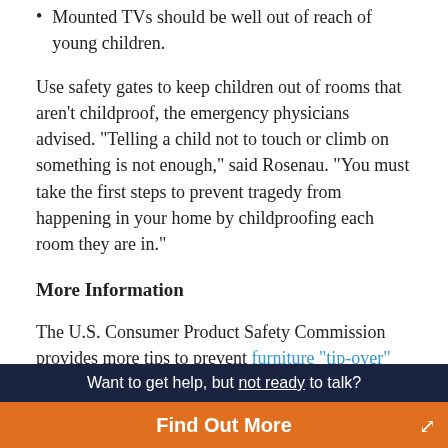Mounted TVs should be well out of reach of young children.
Use safety gates to keep children out of rooms that aren't childproof, the emergency physicians advised. "Telling a child not to touch or climb on something is not enough," said Rosenau. "You must take the first steps to prevent tragedy from happening in your home by childproofing each room they are in."
More Information
The U.S. Consumer Product Safety Commission provides more tips to prevent furniture "tip-over" injuries.
This article: Copyright © 2014 HealthDay. All rights reserved.
Want to get help, but not ready to talk?
Find Out More